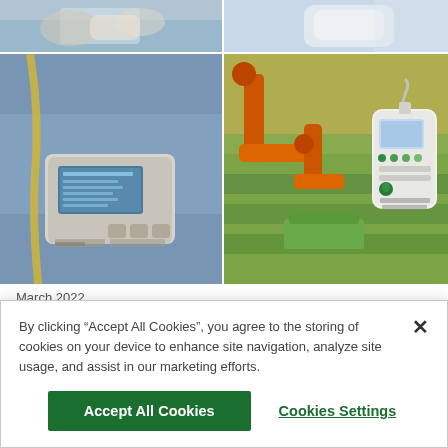[Figure (photo): Top strip: two photos side by side — left shows hands/lab environment, right shows white device/equipment]
[Figure (photo): Middle two photos side by side — left shows an ET-20 electronic measuring device with LCD display in a greenhouse/lab setting; right shows an orange robotic arm in a greenhouse with an Automated Agriculture white sensor device]
March 2022
HIGH-PERFORMANCE PLASTIC ENCLOSURES FOR MEASURING,
By clicking "Accept All Cookies", you agree to the storing of cookies on your device to enhance site navigation, analyze site usage, and assist in our marketing efforts.
Accept All Cookies
Cookies Settings